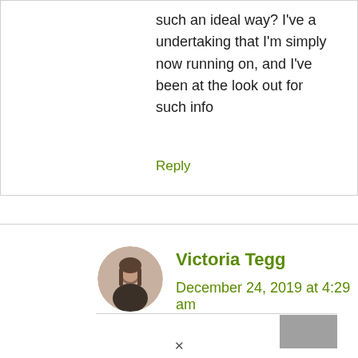such an ideal way? I've a undertaking that I'm simply now running on, and I've been at the look out for such info
Reply
Victoria Tegg
December 24, 2019 at 4:29 am